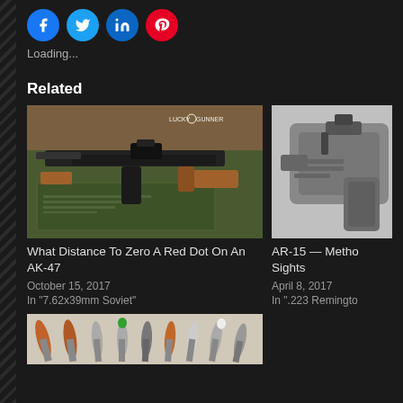[Figure (infographic): Social media share icons: Facebook (blue circle), Twitter (light blue circle), LinkedIn (blue circle), Pinterest (red circle)]
Loading...
Related
[Figure (photo): AK-47 rifle with wooden furniture resting on a green military ammo can, outdoors on autumn leaves. Lucky Gunner watermark visible.]
What Distance To Zero A Red Dot On An AK-47
October 15, 2017
In "7.62x39mm Soviet"
[Figure (photo): Partial image of an AR-15 rifle, close-up of the rear sights/receiver area, gray background.]
AR-15 — Metho Sights
April 8, 2017
In ".223 Remingto
[Figure (photo): Partial image showing various rifle bullets/cartridges lined up, including copper, green, and white tipped projectiles.]